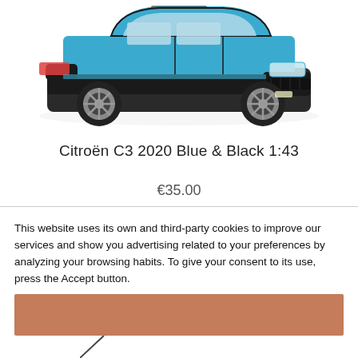[Figure (photo): Citroën C3 2020 die-cast model car in blue and black color, viewed from a front-side angle, 1:43 scale]
Citroën C3 2020 Blue & Black 1:43
€35.00
This website uses its own and third-party cookies to improve our services and show you advertising related to your preferences by analyzing your browsing habits. To give your consent to its use, press the Accept button.
Customize Cookies